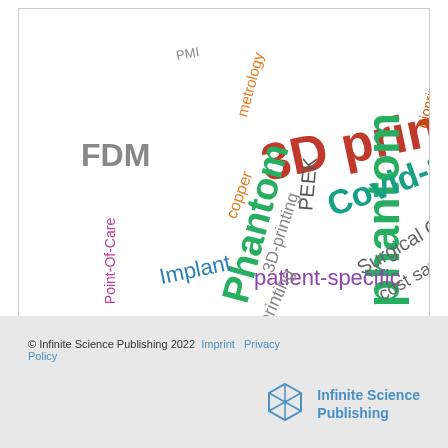[Figure (infographic): Word cloud showing 3D printing and medical imaging related keywords including: 3D printing, human phantom, Phantom, patient-specific, Covid-19, Surgical Guides, Bioprinting, PEEK, metrology, FDM, PMI, copper, 3D-printing, Implant, 3d printing, Point-Of-Care, cost saving, patientspecific]
© Infinite Science Publishing 2022  Imprint  Privacy Policy
[Figure (logo): Infinite Science Publishing logo with cube icon]